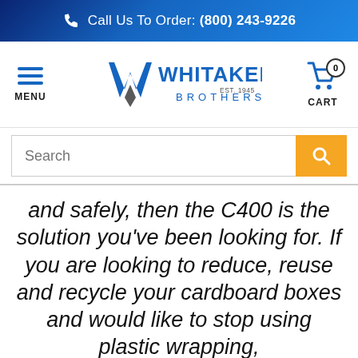Call Us To Order: (800) 243-9226
[Figure (logo): Whitaker Brothers logo with hamburger menu and cart icon 0]
[Figure (screenshot): Search bar with orange search button]
and safely, then the C400 is the solution you've been looking for. If you are looking to reduce, reuse and recycle your cardboard boxes and would like to stop using plastic wrapping,